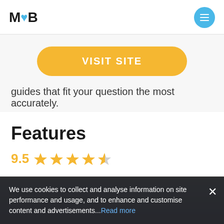M❤B
[Figure (other): VISIT SITE button - golden/yellow pill-shaped button with white bold uppercase text]
guides that fit your question the most accurately.
Features
[Figure (other): Star rating: 9.5 out of 10, showing 4 full gold stars and 1 half gold star]
[Figure (screenshot): Partially visible UI screenshot with blue/purple gradient background and placeholder text 'age...']
We use cookies to collect and analyse information on site performance and usage, and to enhance and customise content and advertisements...Read more